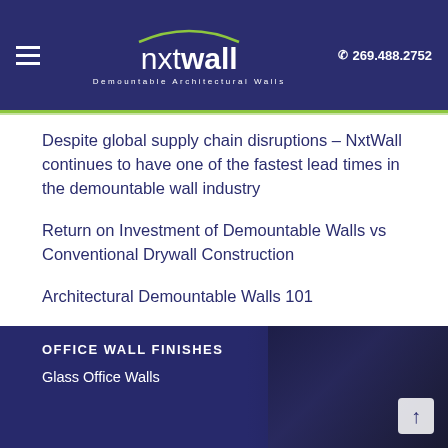nxtwall Demountable Architectural Walls | 269.488.2752
Despite global supply chain disruptions – NxtWall continues to have one of the fastest lead times in the demountable wall industry
Return on Investment of Demountable Walls vs Conventional Drywall Construction
Architectural Demountable Walls 101
Welcome Back to the New Hybrid Office
OFFICE WALL FINISHES
Glass Office Walls